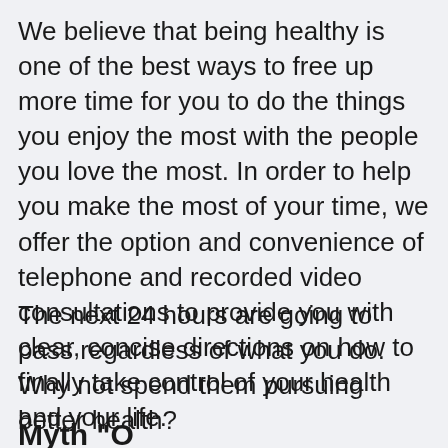We believe that being healthy is one of the best ways to free up more time for you to do the things you enjoy the most with the people you love the most. In order to help you make the most of your time, we offer the option and convenience of telephone and recorded video consultations to provide you with clear, concise directions on how to finally take control of your health and your life.
The next 24 hours are going to pass regardless of what you do.  Why not spend them pursuing better health?
Myth